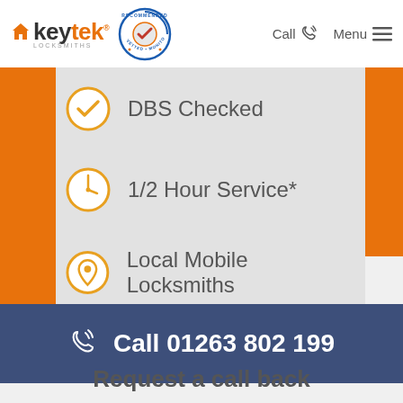[Figure (logo): Keytek Locksmiths logo with orange house icon and text, plus Recommended Vetted Monitored badge]
Call  Menu
DBS Checked
1/2 Hour Service*
Local Mobile Locksmiths
Call 01263 802 199
Request a call back